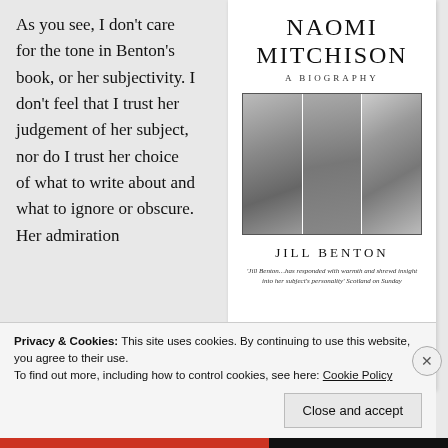As you see, I don't care for the tone in Benton's book, or her subjectivity. I don't feel that I trust her judgement of her subject, nor do I trust her choice of what to write about and what to ignore or obscure. Her admiration
[Figure (illustration): Book cover of 'Naomi Mitchison: A Biography' by Jill Benton. Shows title in large serif letters, subtitle 'A BIOGRAPHY', a collage of three black-and-white photographs of women and children, author name 'JILL BENTON', and a quote: 'Jill Benton...has responded with warmth and shrewd insight into her subject's personality' Scotland on Sunday.]
Privacy & Cookies: This site uses cookies. By continuing to use this website, you agree to their use.
To find out more, including how to control cookies, see here: Cookie Policy
Close and accept